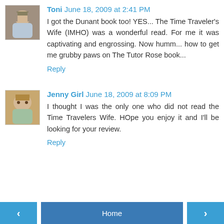Toni June 18, 2009 at 2:41 PM
I got the Dunant book too! YES... The Time Traveler's Wife (IMHO) was a wonderful read. For me it was captivating and engrossing. Now humm... how to get me grubby paws on The Tutor Rose book...
Reply
Jenny Girl June 18, 2009 at 8:09 PM
I thought I was the only one who did not read the Time Travelers Wife. HOpe you enjoy it and I'll be looking for your review.
Reply
< Home >